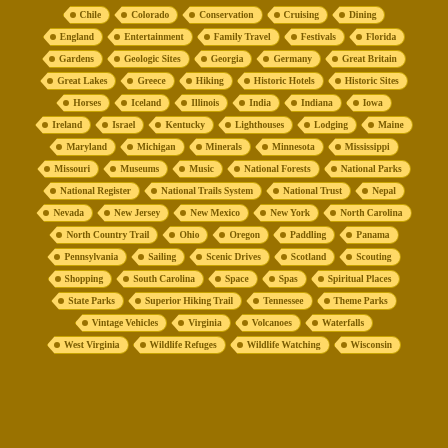Chile
Colorado
Conservation
Cruising
Dining
England
Entertainment
Family Travel
Festivals
Florida
Gardens
Geologic Sites
Georgia
Germany
Great Britain
Great Lakes
Greece
Hiking
Historic Hotels
Historic Sites
Horses
Iceland
Illinois
India
Indiana
Iowa
Ireland
Israel
Kentucky
Lighthouses
Lodging
Maine
Maryland
Michigan
Minerals
Minnesota
Mississippi
Missouri
Museums
Music
National Forests
National Parks
National Register
National Trails System
National Trust
Nepal
Nevada
New Jersey
New Mexico
New York
North Carolina
North Country Trail
Ohio
Oregon
Paddling
Panama
Pennsylvania
Sailing
Scenic Drives
Scotland
Scouting
Shopping
South Carolina
Space
Spas
Spiritual Places
State Parks
Superior Hiking Trail
Tennessee
Theme Parks
Vintage Vehicles
Virginia
Volcanoes
Waterfalls
West Virginia
Wildlife Refuges
Wildlife Watching
Wisconsin